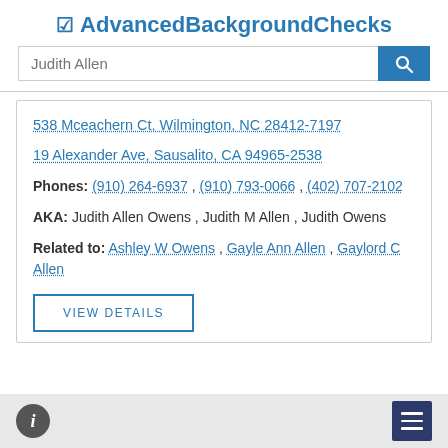AdvancedBackgroundChecks
[Figure (screenshot): Search bar with placeholder text 'Judith Allen' and a blue search button with magnifying glass icon]
538 Mceachern Ct, Wilmington, NC 28412-7197
19 Alexander Ave, Sausalito, CA 94965-2538
Phones: (910) 264-6937 , (910) 793-0066 , (402) 707-2102
AKA: Judith Allen Owens , Judith M Allen , Judith Owens
Related to: Ashley W Owens , Gayle Ann Allen , Gaylord C Allen
VIEW DETAILS
Info icon and menu icon